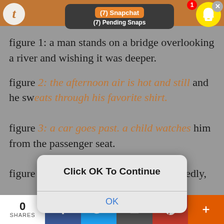[Figure (screenshot): Mobile browser screenshot showing a Tumblr page with Snapchat notification overlay and a 'Click OK To Continue' modal dialog, with social share bar at bottom.]
figure 1: a man stands on a bridge overlooking a river and wishing it was deeper.
figure 2: the afternoon air is hot and still and he sweats through his favorite shirt.
figure 3: a car goes past. a child watches him from the passenger seat.
figure 4: he pats his pockets absentmindedly,
0 SHARES